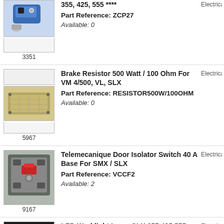[Figure (photo): Blue actuator device with accessories, item 3351]
355, 425, 555 ****
Part Reference: ZCP27
Available: 0
[Figure (photo): Brake resistor component, item 5967]
Brake Resistor 500 Watt / 100 Ohm For VM 4/500, VL, SLX
Part Reference: RESISTOR500W/100OHM
Available: 0
[Figure (photo): Telemecanique door isolator switch, item 9167]
Telemecanique Door Isolator Switch 40 A Base For SMX / SLX
Part Reference: VCCF2
Available: 2
[Figure (photo): LED worklight lamp product photo]
LED Worklight Lamp SLX 355 425 555 1630 & RLX 780 110v
Part Reference: A-673-005